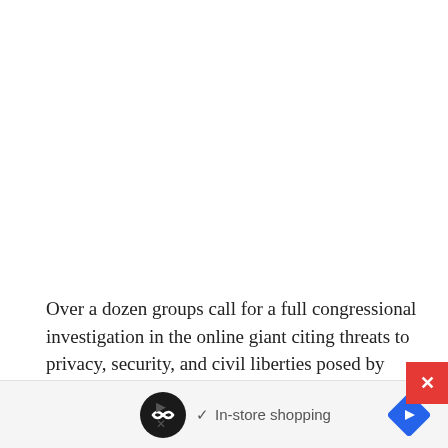Over a dozen groups call for a full congressional investigation in the online giant citing threats to privacy, security, and civil liberties posed by Alexa, Ring, and Rekognition.
Amazon must face a full congressional investigation to
[Figure (other): Advertisement banner at the bottom of the page showing a looping icon, checkmark, 'In-store shopping' text, and a blue diamond navigation arrow, with a red close button (×) overlay.]